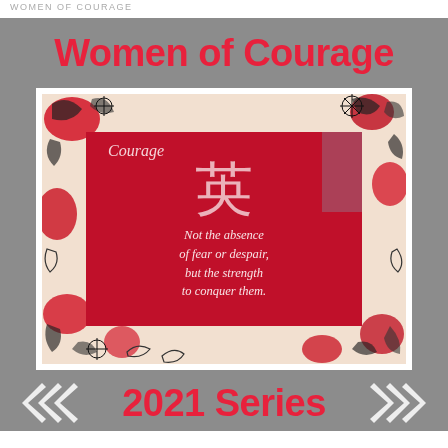WOMEN OF COURAGE
Women of Courage
[Figure (photo): A red decorative sign with the word 'Courage' in italic script, a Chinese kanji character below it, and the quote 'Not the absence of fear or despair, but the strength to conquer them.' The sign is surrounded by a floral patterned border in red, black, and white.]
2021 Series